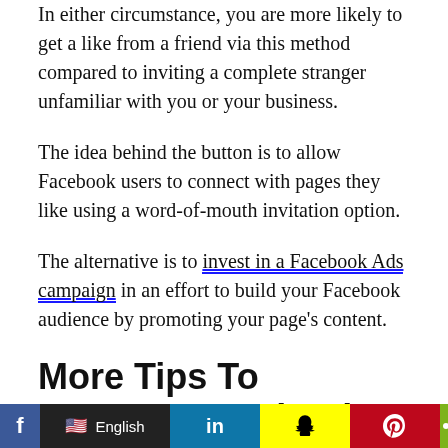In either circumstance, you are more likely to get a like from a friend via this method compared to inviting a complete stranger unfamiliar with you or your business.
The idea behind the button is to allow Facebook users to connect with pages they like using a word-of-mouth invitation option.
The alternative is to invest in a Facebook Ads campaign in an effort to build your Facebook audience by promoting your page’s content.
More Tips To Increase Facebook Likes
In addition to using the Invite button, here are additional ways you can grow your Facebook Page likes
f | English | in | [snapchat] | [pinterest] | [share]